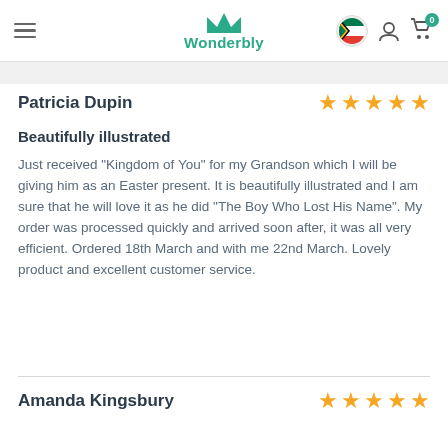Wonderbly
Patricia Dupin — 5 stars
Beautifully illustrated
Just received "Kingdom of You" for my Grandson which I will be giving him as an Easter present. It is beautifully illustrated and I am sure that he will love it as he did "The Boy Who Lost His Name". My order was processed quickly and arrived soon after, it was all very efficient. Ordered 18th March and with me 22nd March. Lovely product and excellent customer service.
Amanda Kingsbury — 5 stars